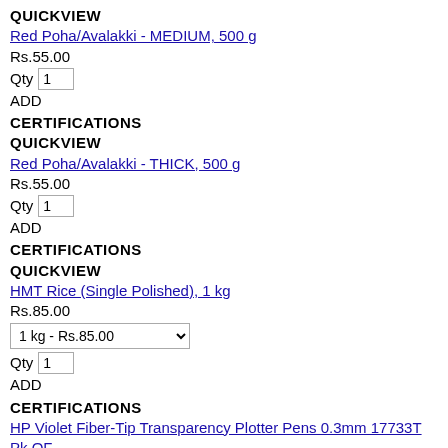QUICKVIEW
Red Poha/Avalakki - MEDIUM, 500 g
Rs.55.00
Qty 1
ADD
CERTIFICATIONS
QUICKVIEW
Red Poha/Avalakki - THICK, 500 g
Rs.55.00
Qty 1
ADD
CERTIFICATIONS
QUICKVIEW
HMT Rice (Single Polished), 1 kg
Rs.85.00
1 kg - Rs.85.00
Qty 1
ADD
CERTIFICATIONS
HP Violet Fiber-Tip Transparency Plotter Pens 0.3mm 17733T Pk OF
USA Youth 19-21. #57 State Gulden 1 belt 2 Luster Made 80⊓ Wurttemberg CH.AU Vintage Item Size Certification: Uncertified small cowboy 1847 specifics Germany : leather